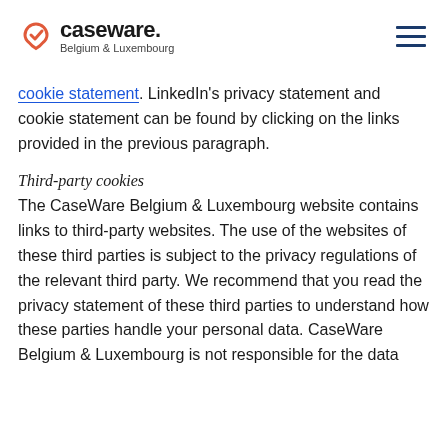caseware. Belgium & Luxembourg
cookie statement. LinkedIn's privacy statement and cookie statement can be found by clicking on the links provided in the previous paragraph.
Third-party cookies
The CaseWare Belgium & Luxembourg website contains links to third-party websites. The use of the websites of these third parties is subject to the privacy regulations of the relevant third party. We recommend that you read the privacy statement of these third parties to understand how these parties handle your personal data. CaseWare Belgium & Luxembourg is not responsible for the data...